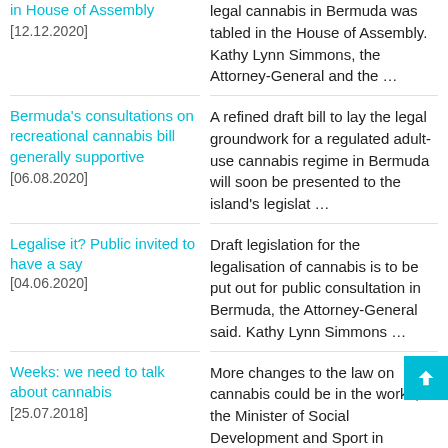in House of Assembly [12.12.2020] | legal cannabis in Bermuda was tabled in the House of Assembly. Kathy Lynn Simmons, the Attorney-General and the ...
Bermuda's consultations on recreational cannabis bill generally supportive [06.08.2020] | A refined draft bill to lay the legal groundwork for a regulated adult-use cannabis regime in Bermuda will soon be presented to the island's legislat ...
Legalise it? Public invited to have a say [04.06.2020] | Draft legislation for the legalisation of cannabis is to be put out for public consultation in Bermuda, the Attorney-General said. Kathy Lynn Simmons ...
Weeks: we need to talk about cannabis [25.07.2018] | More changes to the law on cannabis could be in the works, the Minister of Social Development and Sport in Bermuda has signalled. Michael